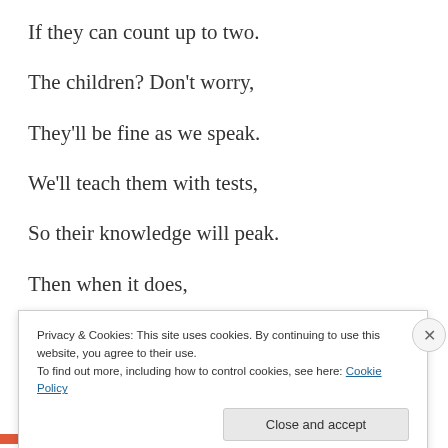If they can count up to two.
The children? Don't worry,
They'll be fine as we speak.
We'll teach them with tests,
So their knowledge will peak.
Then when it does,
We'll know that we have won
Privacy & Cookies: This site uses cookies. By continuing to use this website, you agree to their use.
To find out more, including how to control cookies, see here: Cookie Policy
Close and accept